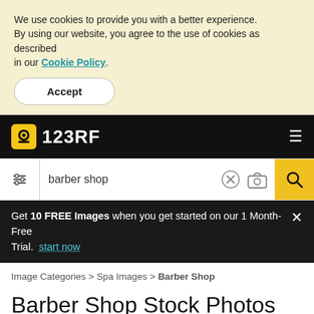We use cookies to provide you with a better experience. By using our website, you agree to the use of cookies as described in our Cookie Policy.
Accept
[Figure (logo): 123RF logo with camera icon on black navigation bar]
[Figure (screenshot): Search bar with filter icon, barber shop search text, clear and camera icons, yellow search button]
Get 10 FREE Images when you get started on our 1 Month-Free Trial. start now
Image Categories > Spa Images > Barber Shop
Barber Shop Stock Photos And Images